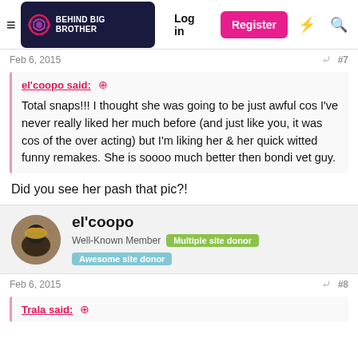Behind Big Brother — Log in | Register
Feb 6, 2015  #7
el'coopo said: ↑
Total snaps!!! I thought she was going to be just awful cos I've never really liked her much before (and just like you, it was cos of the over acting) but I'm liking her & her quick witted funny remakes. She is soooo much better then bondi vet guy.
Did you see her pash that pic?!
el'coopo
Well-Known Member  Multiple site donor  Awesome site donor
Feb 6, 2015  #8
Trala said: ↑